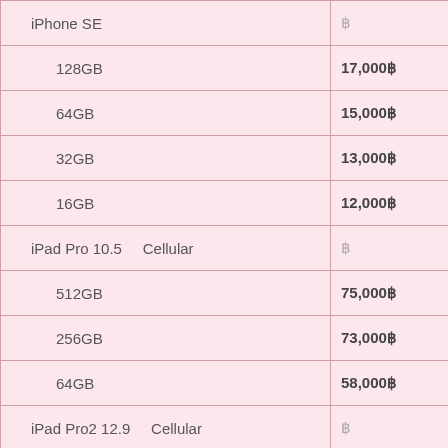| Product | Price |
| --- | --- |
| iPhone SE | ฿ |
| 128GB | 17,000฿ |
| 64GB | 15,000฿ |
| 32GB | 13,000฿ |
| 16GB | 12,000฿ |
| iPad Pro 10.5    Cellular | ฿ |
| 512GB | 75,000฿ |
| 256GB | 73,000฿ |
| 64GB | 58,000฿ |
| iPad Pro2 12.9    Cellular | ฿ |